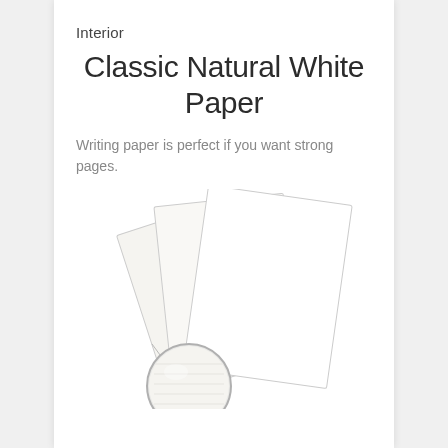Interior
Classic Natural White Paper
Writing paper is perfect if you want strong pages.
[Figure (illustration): Three overlapping sheets of white/off-white paper fanned out, with a circular magnifying zoom inset at the bottom left showing a close-up of the paper texture/color.]